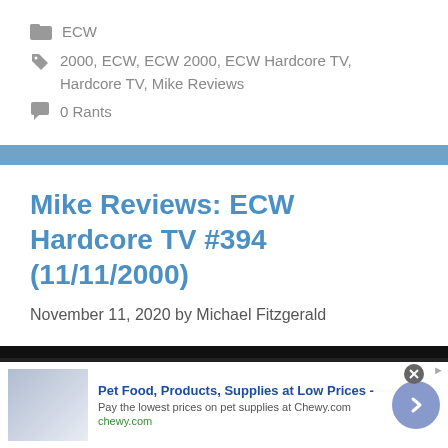ECW
2000, ECW, ECW 2000, ECW Hardcore TV, Hardcore TV, Mike Reviews
0 Rants
Mike Reviews: ECW Hardcore TV #394 (11/11/2000)
November 11, 2020 by Michael Fitzgerald
[Figure (screenshot): Advertisement for Chewy.com pet food and supplies]